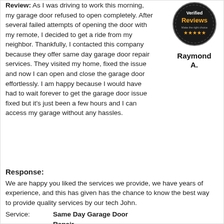Review: As I was driving to work this morning, my garage door refused to open completely. After several failed attempts of opening the door with my remote, I decided to get a ride from my neighbor. Thankfully, I contacted this company because they offer same day garage door repair services. They visited my home, fixed the issue and now I can open and close the garage door effortlessly. I am happy because I would have had to wait forever to get the garage door issue fixed but it's just been a few hours and I can access my garage without any hassles.
[Figure (logo): Verified Reviews badge - circular dark badge with 'Verified' in white and 'Reviews' in orange, with stars]
Raymond A.
Response: We are happy you liked the services we provide, we have years of experience, and this has given has the chance to know the best way to provide quality services by our tech John.
Service: Same Day Garage Door Repair
Product: Garage Door